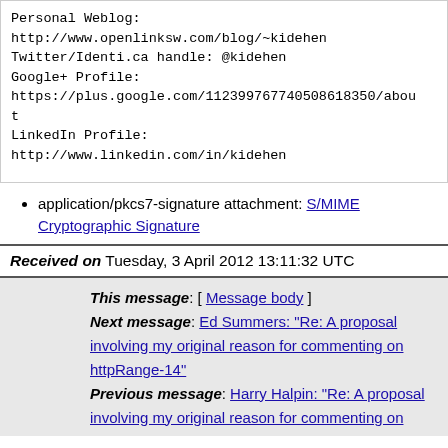Personal Weblog:
http://www.openlinksw.com/blog/~kidehen
Twitter/Identi.ca handle: @kidehen
Google+ Profile:
https://plus.google.com/112399767740508618350/about
LinkedIn Profile:
http://www.linkedin.com/in/kidehen
application/pkcs7-signature attachment: S/MIME Cryptographic Signature
Received on Tuesday, 3 April 2012 13:11:32 UTC
This message: [ Message body ]
Next message: Ed Summers: "Re: A proposal involving my original reason for commenting on httpRange-14"
Previous message: Harry Halpin: "Re: A proposal involving my original reason for commenting on